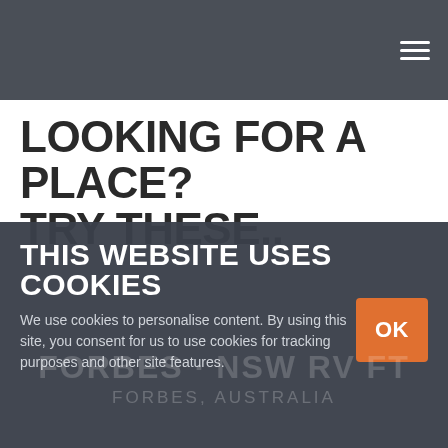LOOKING FOR A PLACE? TRY THESE..
THIS WEBSITE USES COOKIES
We use cookies to personalise content. By using this site, you consent for us to use cookies for tracking purposes and other site features.
FORBES · NSW RV FT
FORBES, AUSTRALIA